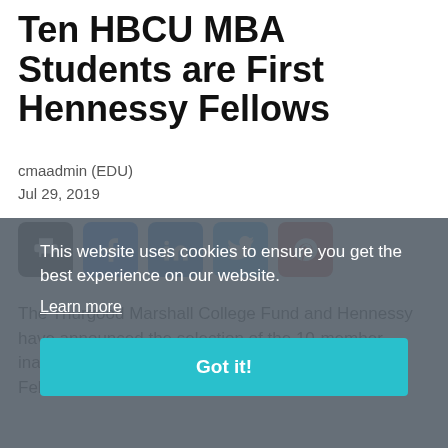Ten HBCU MBA Students are First Hennessy Fellows
cmaadmin (EDU)
Jul 29, 2019
[Figure (infographic): Social share buttons: print (black), Facebook (blue), LinkedIn (dark blue), Twitter (light blue), Pinterest (red)]
The Thurgood Marshall College Fund and Hennessy have announced the selection of the 10-member inaugural cohort of the newly formed Hennessy Fellows program.
This website uses cookies to ensure you get the best experience on our website.
Learn more
Got it!